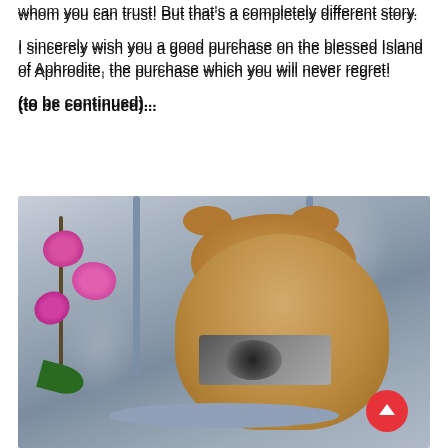whom you can trust! But that's a completely different story.
I sincerely wish you a good purchase on the blessed Island of Aphrodite, the purchase which you will never regret!
(to be continued)...
[Figure (photo): A teddy bear holding a vintage camera, sitting on a blue chair, with pink orchid flowers beside it against a floral wallpaper background.]